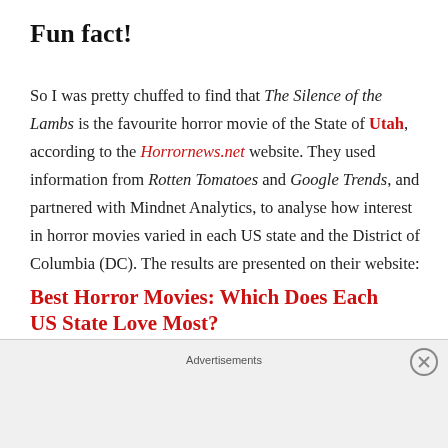Fun fact!
So I was pretty chuffed to find that The Silence of the Lambs is the favourite horror movie of the State of Utah, according to the Horrornews.net website. They used information from Rotten Tomatoes and Google Trends, and partnered with Mindnet Analytics, to analyse how interest in horror movies varied in each US state and the District of Columbia (DC). The results are presented on their website:
Best Horror Movies: Which Does Each US State Love Most?
Advertisements